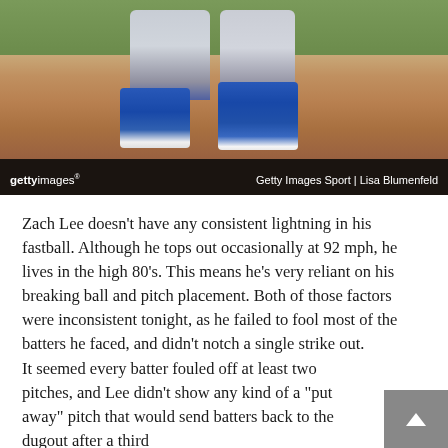[Figure (photo): Close-up photo of a baseball pitcher's legs and feet on the pitching mound, wearing grey uniform and blue cleats/socks. The pitcher appears to be mid-delivery. Photo credit: Getty Images Sport | Lisa Blumenfeld. Getty Images watermark visible in bottom left.]
Zach Lee doesn't have any consistent lightning in his fastball. Although he tops out occasionally at 92 mph, he lives in the high 80's. This means he's very reliant on his breaking ball and pitch placement. Both of those factors were inconsistent tonight, as he failed to fool most of the batters he faced, and didn't notch a single strike out.
It seemed every batter fouled off at least two pitches, and Lee didn't show any kind of a "put away" pitch that would send batters back to the dugout after a third strike. With the kind of action on someone's best fastball...